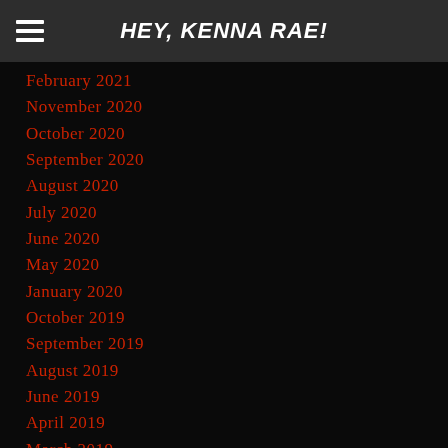HEY, KENNA RAE!
February 2021
November 2020
October 2020
September 2020
August 2020
July 2020
June 2020
May 2020
January 2020
October 2019
September 2019
August 2019
June 2019
April 2019
March 2019
February 2019
January 2019
September 2018
August 2018